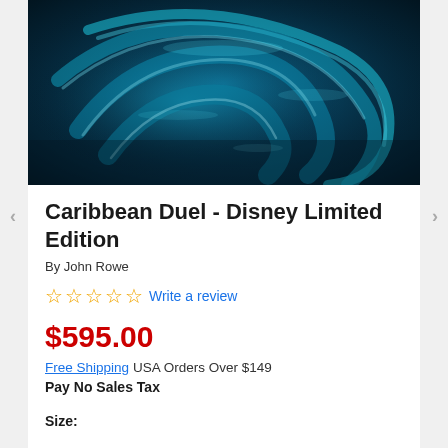[Figure (photo): Product photo of Caribbean Duel Disney Limited Edition art — dark blue ocean water with swirling teal/cyan wave patterns forming a circular shape, resembling the Disney logo D shape in water]
Caribbean Duel - Disney Limited Edition
By John Rowe
☆☆☆☆☆ Write a review
$595.00
Free Shipping USA Orders Over $149
Pay No Sales Tax
Size: